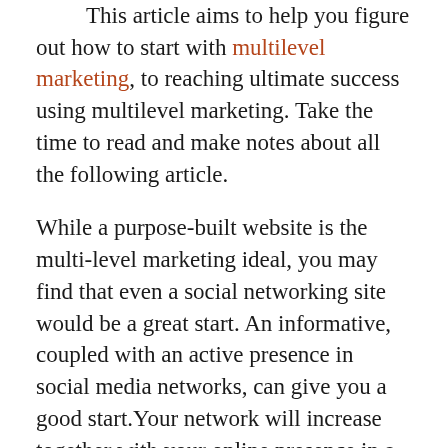This article aims to help you figure out how to start with multilevel marketing, to reaching ultimate success using multilevel marketing. Take the time to read and make notes about all the following article.
While a purpose-built website is the multi-level marketing ideal, you may find that even a social networking site would be a great start. An informative, coupled with an active presence in social media networks, can give you a good start.Your network will increase together with your online presence in a social setting.
Network marketing should be seen as a battle to sign up more people. Instead, look at what you can do to help others, and then work from there.